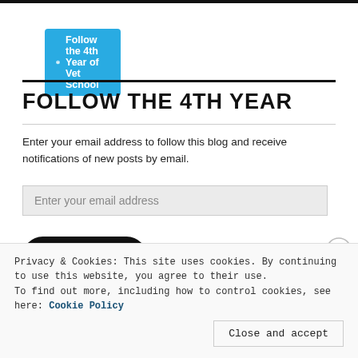[Figure (other): WordPress follow button: blue rounded button with WordPress icon and text 'Follow the 4th Year of Vet School']
FOLLOW THE 4TH YEAR
Enter your email address to follow this blog and receive notifications of new posts by email.
Enter your email address (input field)
FOLLOW (button)
Privacy & Cookies: This site uses cookies. By continuing to use this website, you agree to their use.
To find out more, including how to control cookies, see here: Cookie Policy
Close and accept